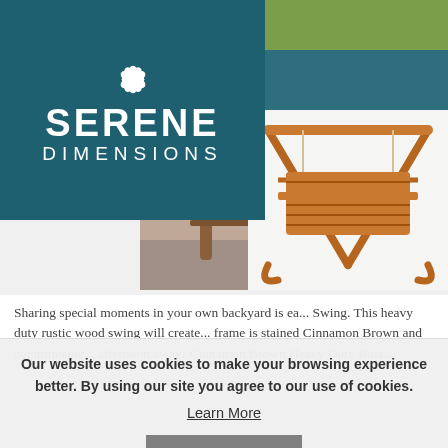[Figure (logo): Serene Dimensions logo with lotus flower icon, white text on teal/dark blue background]
[Figure (photo): Partial photo of wooden furniture legs on gray background, partially obscured by logo box]
[Figure (photo): Product photo of cinnamon brown rustic wood porch swing with A-frame stand]
Sharing special moments in your own backyard is ea... Swing. This heavy duty rustic wood swing will create... frame is stained Cinnamon Brown and complimente... afternoon away! Cinnamon Brown Heavy Duty Rust...
Our website uses cookies to make your browsing experience better. By using our site you agree to our use of cookies.
Learn More
I Agree